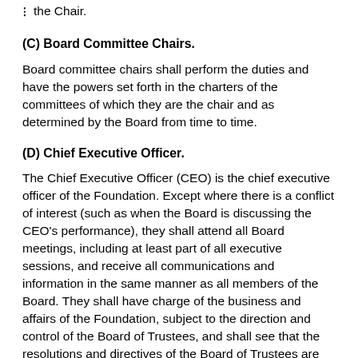the Chair.
(C) Board Committee Chairs.
Board committee chairs shall perform the duties and have the powers set forth in the charters of the committees of which they are the chair and as determined by the Board from time to time.
(D) Chief Executive Officer.
The Chief Executive Officer (CEO) is the chief executive officer of the Foundation. Except where there is a conflict of interest (such as when the Board is discussing the CEO's performance), they shall attend all Board meetings, including at least part of all executive sessions, and receive all communications and information in the same manner as all members of the Board. They shall have charge of the business and affairs of the Foundation, subject to the direction and control of the Board of Trustees, and shall see that the resolutions and directives of the Board of Trustees are carried into effect except in those instances in which responsibility is assigned to some other person by the Board of Trustees. The CEO may execute on